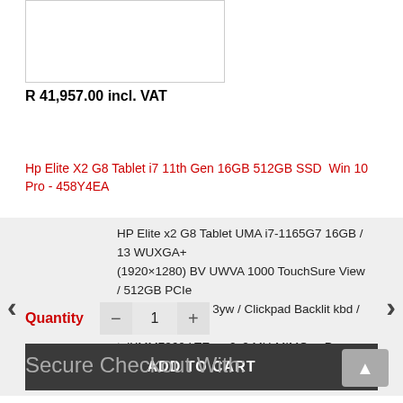[Figure (photo): Product image placeholder at top left]
R 41,957.00 incl. VAT
Hp Elite X2 G8 Tablet i7 11th Gen 16GB 512GB SSD  Win 10 Pro - 458Y4EA
HP Elite x2 G8 Tablet UMA i7-1165G7 16GB / 13 WUXGA+ (1920×1280) BV UWVA 1000 TouchSure View / 512GB PCIe Value / W10p64 / 3yw / Clickpad Backlit kbd / Intel Wi-Fi 6 AX 2x2 MU-MIMO nvP 160MHz +BT 5 with gig+ Antennas / IntelXMM7360 LTE / Preinstall HEVC
Quantity  −  1  +
ADD TO CART
Secure Checkout With: